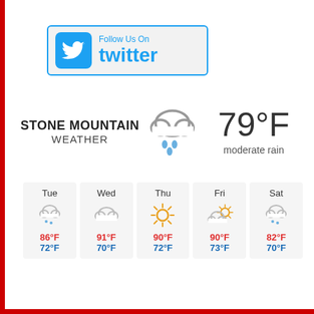[Figure (logo): Follow Us On Twitter banner with Twitter bird icon in blue box]
STONE MOUNTAIN WEATHER — 79°F moderate rain
[Figure (other): Weather forecast table showing Tue through Sat with icons and temperatures: Tue 86°F/72°F, Wed 91°F/70°F, Thu 90°F/72°F, Fri 90°F/73°F, Sat 82°F/70°F]